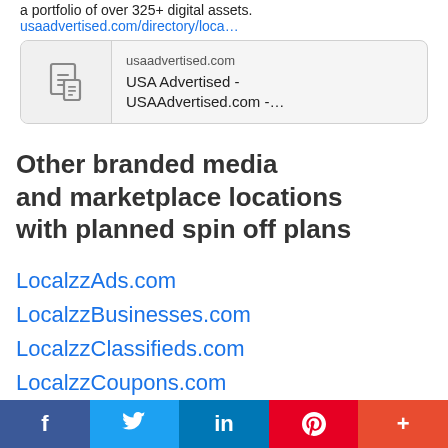a portfolio of over 325+ digital assets. usaadvertised.com/directory/loca…
[Figure (screenshot): Preview card for usaadvertised.com showing a document icon on the left and text 'usaadvertised.com / USA Advertised - USAAdvertised.com -…' on the right]
Other branded media and marketplace locations with planned spin off plans
LocalzzAds.com
LocalzzBusinesses.com
LocalzzClassifieds.com
LocalzzCoupons.com
LocalzzDirectory.com
LocalzzEmployment.com
f  twitter  in  P  +